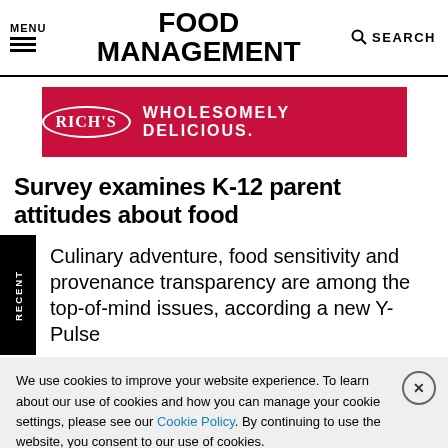MENU | FOOD MANAGEMENT | SEARCH
[Figure (other): Rich's 'Wholesomely Delicious' advertisement banner in red/crimson color]
Survey examines K-12 parent attitudes about food
Culinary adventure, food sensitivity and provenance transparency are among the top-of-mind issues, according a new Y-Pulse
We use cookies to improve your website experience. To learn about our use of cookies and how you can manage your cookie settings, please see our Cookie Policy. By continuing to use the website, you consent to our use of cookies.